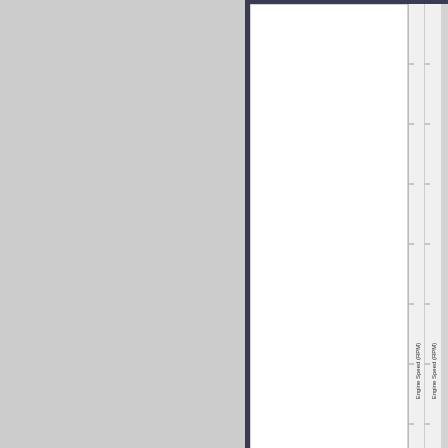[Figure (screenshot): Software application window showing a data chart/graph with white plot area, two vertical Y-axes labeled 'Engine Speed (RPM)' on the right side with tick marks, dark border/frame, and a status bar showing 'Ready...' at the bottom. The chart area is blank/white.]
v99 E85 vs 98 v100 TOTAL TIMING D
This image has been resized. Click this bar